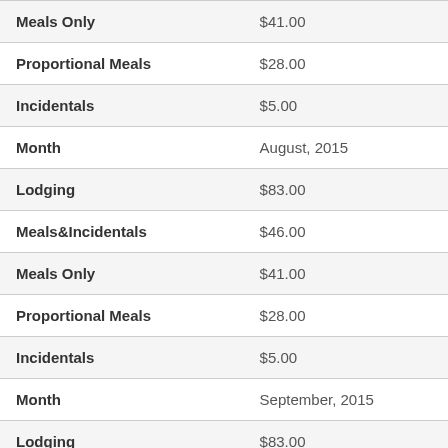| Field | Value |
| --- | --- |
| Meals Only | $41.00 |
| Proportional Meals | $28.00 |
| Incidentals | $5.00 |
| Month | August, 2015 |
| Lodging | $83.00 |
| Meals&Incidentals | $46.00 |
| Meals Only | $41.00 |
| Proportional Meals | $28.00 |
| Incidentals | $5.00 |
| Month | September, 2015 |
| Lodging | $83.00 |